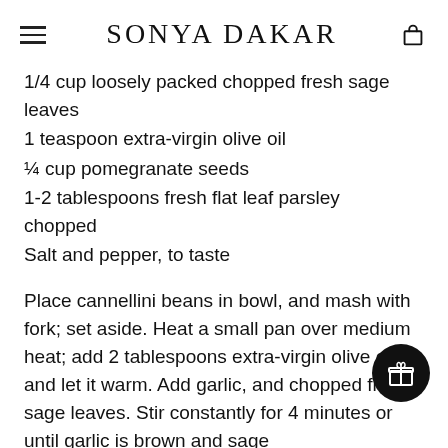SONYA DAKAR
1/4 cup loosely packed chopped fresh sage leaves
1 teaspoon extra-virgin olive oil
¼ cup pomegranate seeds
1-2 tablespoons fresh flat leaf parsley chopped
Salt and pepper, to taste
Place cannellini beans in bowl, and mash with fork; set aside. Heat a small pan over medium heat; add 2 tablespoons extra-virgin olive oil, and let it warm. Add garlic, and chopped fresh sage leaves. Stir constantly for 4 minutes or until garlic is brown and sage